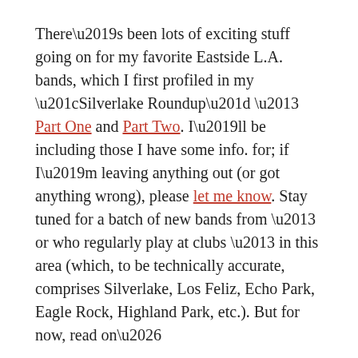There’s been lots of exciting stuff going on for my favorite Eastside L.A. bands, which I first profiled in my “Silverlake Roundup” – Part One and Part Two. I’ll be including those I have some info. for; if I’m leaving anything out (or got anything wrong), please let me know. Stay tuned for a batch of new bands from – or who regularly play at clubs – in this area (which, to be technically accurate, comprises Silverlake, Los Feliz, Echo Park, Eagle Rock, Highland Park, etc.). But for now, read on…
Old Favorites, New Projects…
Afternoons | Autolux | Avi Buffalo | Calder Quartet | Castledoor | Darker My Love | Death To Anders |